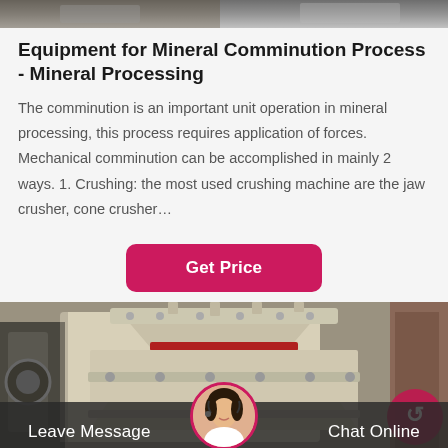[Figure (photo): Top cropped photo of industrial machinery, partially visible]
Equipment for Mineral Comminution Process - Mineral Processing
The comminution is an important unit operation in mineral processing, this process requires application of forces. Mechanical comminution can be accomplished in mainly 2 ways. 1. Crushing: the most used crushing machine are the jaw crusher, cone crusher…
[Figure (other): Get Price button - pink/magenta rounded rectangle button]
[Figure (photo): Photo of large industrial cone crusher machine in a facility, with a bottom bar overlay showing Leave Message and Chat Online options with a customer service avatar]